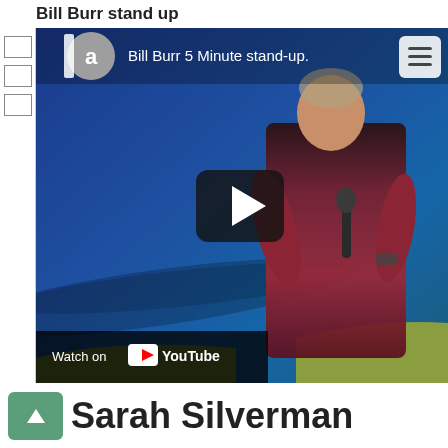Bill Burr stand up
[Figure (screenshot): YouTube video thumbnail showing a man in a dark red shirt performing stand-up comedy on stage with a microphone, against a blue background. The video title reads 'Bill Burr 5 Minute stand-up.' with an avatar circle showing the letter 'a', a menu button in the top right, a play button in the center, and a 'Watch on YouTube' button at the bottom left.]
Sarah Silverman